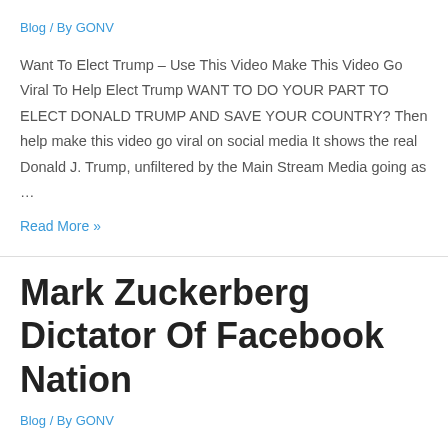Blog / By GONV
Want To Elect Trump – Use This Video Make This Video Go Viral To Help Elect Trump WANT TO DO YOUR PART TO ELECT DONALD TRUMP AND SAVE YOUR COUNTRY? Then help make this video go viral on social media It shows the real Donald J. Trump, unfiltered by the Main Stream Media going as …
Read More »
Mark Zuckerberg Dictator Of Facebook Nation
Blog / By GONV
Mark Zuckerberg Dictator Of Facebook Nation Disturbing New Direction Of Internet Facebook Social Network now has 1.6 billion users which gives it a lot of power on the internet I'm only